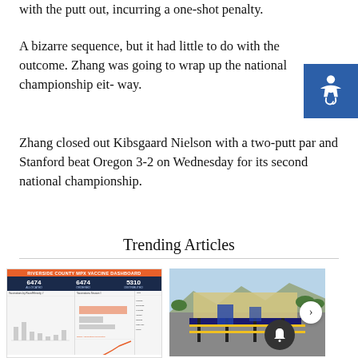with the putt out, incurring a one-shot penalty.
A bizarre sequence, but it had little to do with the outcome. Zhang was going to wrap up the national championship either way.
Zhang closed out Kibsgaard Nielson with a two-putt par and Stanford beat Oregon 3-2 on Wednesday for its second national championship.
Trending Articles
[Figure (screenshot): Riverside County MPX Vaccine Dashboard screenshot showing stats 6474, 6474, 5310 with charts]
Riverside County launches monkeypox vaccine
[Figure (photo): Aerial or ground view of PSP baggage system facility]
$7M PSP baggage system needs replacing after 1